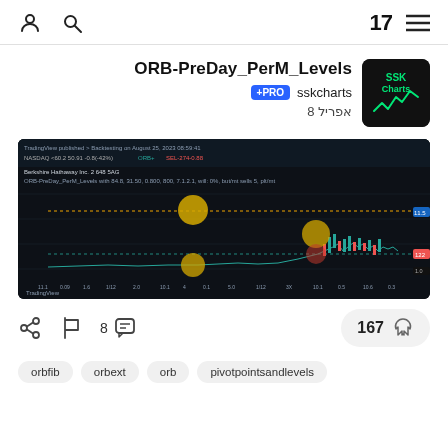TradingView header navigation
ORB-PreDay_PerM_Levels
+PRO sskcharts
אפריל 8
[Figure (screenshot): TradingView chart screenshot showing ORB-PreDay_PerM_Levels indicator on a stock chart with candlesticks, dotted horizontal lines, and colored circles marking key levels on a dark background.]
8  167
orbfib
orbext
orb
pivotpointsandlevels